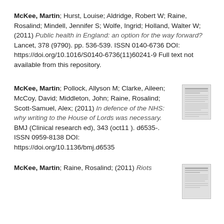McKee, Martin; Hurst, Louise; Aldridge, Robert W; Raine, Rosalind; Mindell, Jennifer S; Wolfe, Ingrid; Holland, Walter W; (2011) Public health in England: an option for the way forward? Lancet, 378 (9790). pp. 536-539. ISSN 0140-6736 DOI: https://doi.org/10.1016/S0140-6736(11)60241-9 Full text not available from this repository.
McKee, Martin; Pollock, Allyson M; Clarke, Aileen; McCoy, David; Middleton, John; Raine, Rosalind; Scott-Samuel, Alex; (2011) In defence of the NHS: why writing to the House of Lords was necessary. BMJ (Clinical research ed), 343 (oct11 ). d6535-. ISSN 0959-8138 DOI: https://doi.org/10.1136/bmj.d6535
McKee, Martin; Raine, Rosalind; (2011) Riots